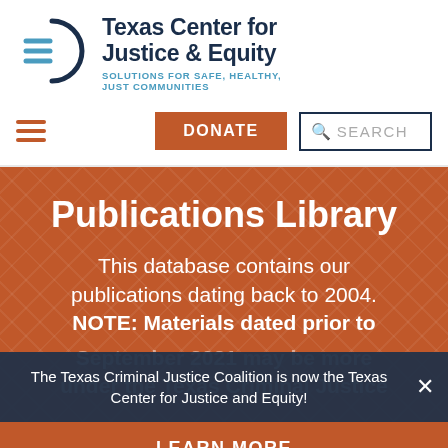[Figure (logo): Texas Center for Justice & Equity logo — circular symbol with horizontal lines on left side, dark navy circle arc on right]
Texas Center for Justice & Equity
SOLUTIONS FOR SAFE, HEALTHY, JUST COMMUNITIES
[Figure (other): Hamburger menu icon (three horizontal orange-red lines)]
DONATE
SEARCH
Publications Library
This database contains our publications dating back to 2004. NOTE: Materials dated prior to
The Texas Criminal Justice Coalition is now the Texas Center for Justice and Equity!
LEARN MORE